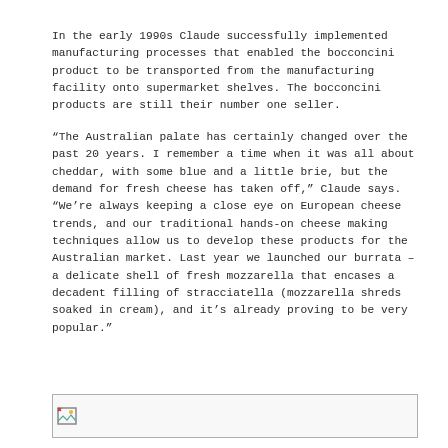In the early 1990s Claude successfully implemented manufacturing processes that enabled the bocconcini product to be transported from the manufacturing facility onto supermarket shelves. The bocconcini products are still their number one seller.
“The Australian palate has certainly changed over the past 20 years. I remember a time when it was all about cheddar, with some blue and a little brie, but the demand for fresh cheese has taken off,” Claude says. “We’re always keeping a close eye on European cheese trends, and our traditional hands-on cheese making techniques allow us to develop these products for the Australian market. Last year we launched our burrata – a delicate shell of fresh mozzarella that encases a decadent filling of stracciatella (mozzarella shreds soaked in cream), and it’s already proving to be very popular.”
[Figure (photo): Small image placeholder box with broken image icon in the bottom-left corner]